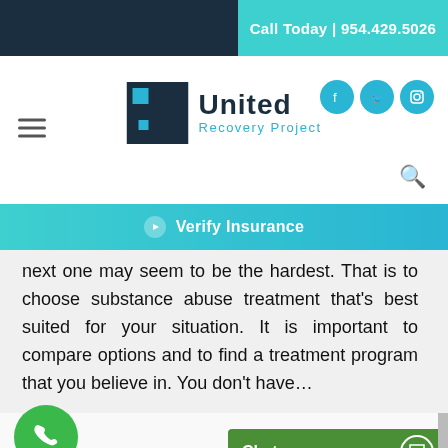Call Today | 954.429.5026
[Figure (logo): United Recovery Project logo with cross/plus icon in dark navy and teal, social media icons (Facebook, Twitter, Instagram) in teal circles, hamburger menu, search icon]
Verify Insurance
next one may seem to be the hardest. That is to choose substance abuse treatment that's best suited for your situation. It is important to compare options and to find a treatment program that you believe in. You don't have...
Chat now